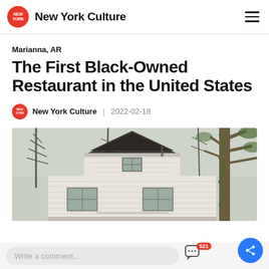New York Culture
Marianna, AR
The First Black-Owned Restaurant in the United States
New York Culture | 2022-02-18
[Figure (photo): Exterior of a small white wooden house with a peaked roof gable, bare trees in the background, overcast sky]
Write a comment...